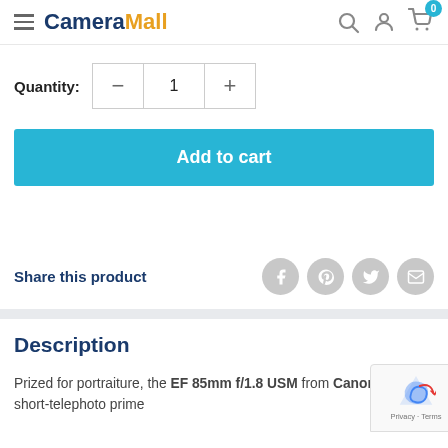CameraMall
Quantity: 1
Add to cart
Share this product
Description
Prized for portraiture, the EF 85mm f/1.8 USM from Canon is a short-telephoto prime